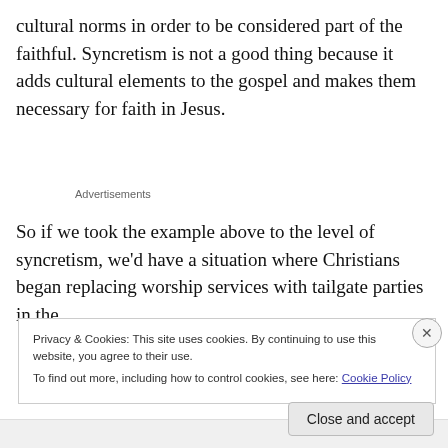cultural norms in order to be considered part of the faithful. Syncretism is not a good thing because it adds cultural elements to the gospel and makes them necessary for faith in Jesus.
Advertisements
So if we took the example above to the level of syncretism, we'd have a situation where Christians began replacing worship services with tailgate parties in the
Privacy & Cookies: This site uses cookies. By continuing to use this website, you agree to their use.
To find out more, including how to control cookies, see here: Cookie Policy
Close and accept